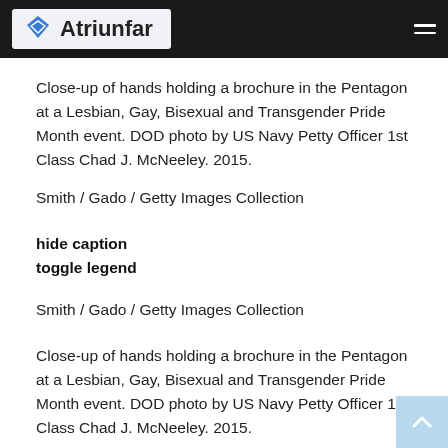Atriunfar
Close-up of hands holding a brochure in the Pentagon at a Lesbian, Gay, Bisexual and Transgender Pride Month event. DOD photo by US Navy Petty Officer 1st Class Chad J. McNeeley. 2015.
Smith / Gado / Getty Images Collection
hide caption
toggle legend
Smith / Gado / Getty Images Collection
Close-up of hands holding a brochure in the Pentagon at a Lesbian, Gay, Bisexual and Transgender Pride Month event. DOD photo by US Navy Petty Officer 1st Class Chad J. McNeeley. 2015.